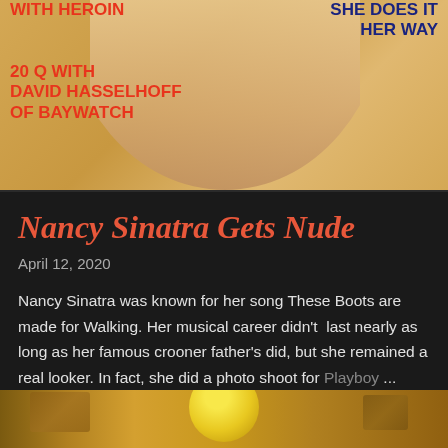[Figure (photo): Magazine cover partial image showing text overlays on a light tan/skin-toned background. Left side shows red text 'WITH HEROIN' and '20 Q WITH DAVID HASSELHOFF OF BAYWATCH'. Right side shows dark blue text 'SHE DOES IT HER WAY'.]
Nancy Sinatra Gets Nude
April 12, 2020
Nancy Sinatra was known for her song These Boots are made for Walking. Her musical career didn't last nearly as long as her famous crooner father's did, but she remained a real looker. In fact, she did a photo shoot for Playboy ...
SHARE
POST A COMMENT
READ MORE
[Figure (photo): Partial image at the bottom showing food items on a yellow/golden background, only the top portion visible.]